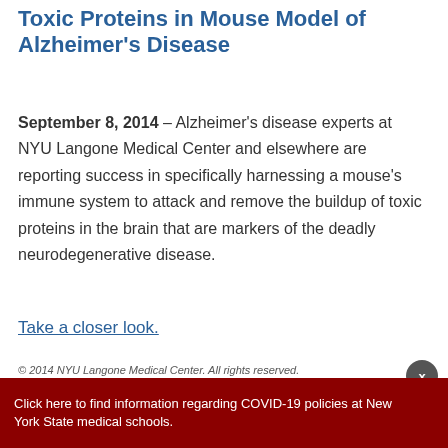Toxic Proteins in Mouse Model of Alzheimer's Disease
September 8, 2014 – Alzheimer's disease experts at NYU Langone Medical Center and elsewhere are reporting success in specifically harnessing a mouse's immune system to attack and remove the buildup of toxic proteins in the brain that are markers of the deadly neurodegenerative disease.
Take a closer look.
© 2014 NYU Langone Medical Center. All rights reserved.
Click here to find information regarding COVID-19 policies at New York State medical schools.